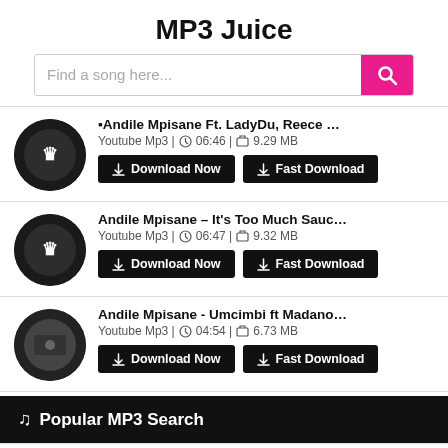MP3 Juice
[Figure (screenshot): Search bar with placeholder text 'Find a song here...' and a pink search button with magnifying glass icon]
▪Andile Mpisane Ft. LadyDu, Reece & Zuma – It's Too M
Youtube Mp3 | ⏱ 06:46 | 💾 9.29 MB
Download Now | Fast Download
Andile Mpisane – It's Too Much Sauce (Official Audio) ft.
Youtube Mp3 | ⏱ 06:47 | 💾 9.32 MB
Download Now | Fast Download
Andile Mpisane - Umcimbi ft Madanon and Distruction Bo
Youtube Mp3 | ⏱ 04:54 | 💾 6.73 MB
Download Now | Fast Download
🎵 Popular MP3 Search
› Chad Da Don Postpones Dreams Dont Sleep Release Date